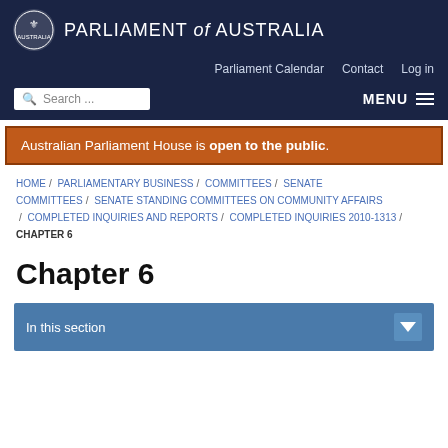[Figure (logo): Parliament of Australia coat of arms logo with text PARLIAMENT of AUSTRALIA on dark navy background header]
Parliament Calendar   Contact   Log in
Search ...   MENU
Australian Parliament House is open to the public.
HOME / PARLIAMENTARY BUSINESS / COMMITTEES / SENATE COMMITTEES / SENATE STANDING COMMITTEES ON COMMUNITY AFFAIRS / COMPLETED INQUIRIES AND REPORTS / COMPLETED INQUIRIES 2010-13 / CHAPTER 6
Chapter 6
In this section